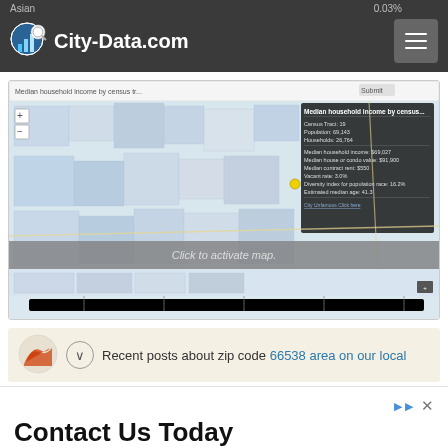Asian | City-Data.com
[Figure (map): Interactive choropleth map showing median household income by census tract. Overlay tooltip visible showing census tract details including population 69,143, households 26,764, median household income $69,027, median house/condo value $91,900, median contract rent $550, vacant rate 3.0%, diversity index 16.2%, estimated median age 41.3. A color scale from light to dark purple appears at the bottom indicating income levels. Map has zoom controls and 'Click to activate map' overlay message.]
Recent posts about zip code 66538 area on our local forum with over 2,000,000 registered users
Contact Us Today
Plumbing & Sewer Services. Contact Us Today. Contact Us Now Crown Plumber